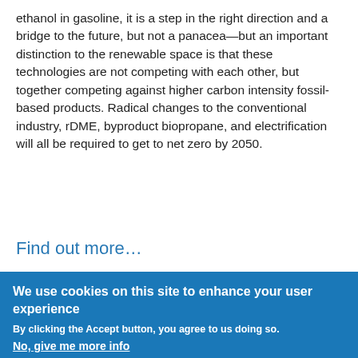ethanol in gasoline, it is a step in the right direction and a bridge to the future, but not a panacea—but an important distinction to the renewable space is that these technologies are not competing with each other, but together competing against higher carbon intensity fossil-based products. Radical changes to the conventional industry, rDME, byproduct biopropane, and electrification will all be required to get to net zero by 2050.
Find out more…
We use cookies on this site to enhance your user experience
By clicking the Accept button, you agree to us doing so.
No, give me more info
OK, I agree   No, thanks